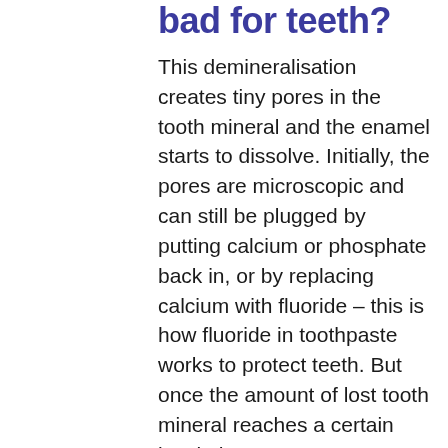bad for teeth?
This demineralisation creates tiny pores in the tooth mineral and the enamel starts to dissolve. Initially, the pores are microscopic and can still be plugged by putting calcium or phosphate back in, or by replacing calcium with fluoride – this is how fluoride in toothpaste works to protect teeth. But once the amount of lost tooth mineral reaches a certain level, the pores can no longer be plugged and the tooth tissue is lost for good.
If teeth are bathed in acid from carbonated drinks frequently, more minerals can be dissolved out than get replenished. Ultimately, the enamel is destroyed.